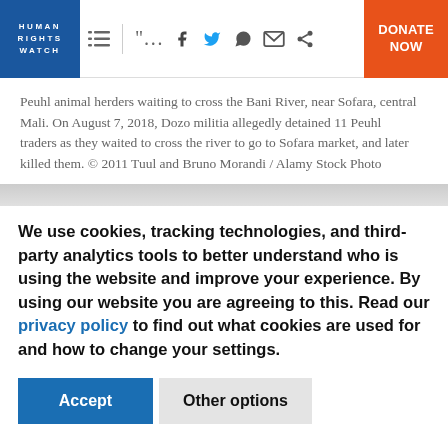HUMAN RIGHTS WATCH — Navigation bar with logo, icons, and DONATE NOW button
Peuhl animal herders waiting to cross the Bani River, near Sofara, central Mali. On August 7, 2018, Dozo militia allegedly detained 11 Peuhl traders as they waited to cross the river to go to Sofara market, and later killed them. © 2011 Tuul and Bruno Morandi / Alamy Stock Photo
We use cookies, tracking technologies, and third-party analytics tools to better understand who is using the website and improve your experience. By using our website you are agreeing to this. Read our privacy policy to find out what cookies are used for and how to change your settings.